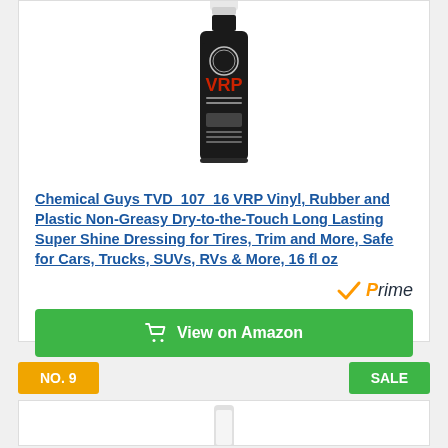[Figure (photo): Chemical Guys VRP product bottle — tall black bottle with white cap and red/white label]
Chemical Guys TVD  107  16 VRP Vinyl, Rubber and Plastic Non-Greasy Dry-to-the-Touch Long Lasting Super Shine Dressing for Tires, Trim and More, Safe for Cars, Trucks, SUVs, RVs & More, 16 fl oz
[Figure (logo): Amazon Prime badge — checkmark and italic Prime text in orange and dark]
View on Amazon
NO. 9
SALE